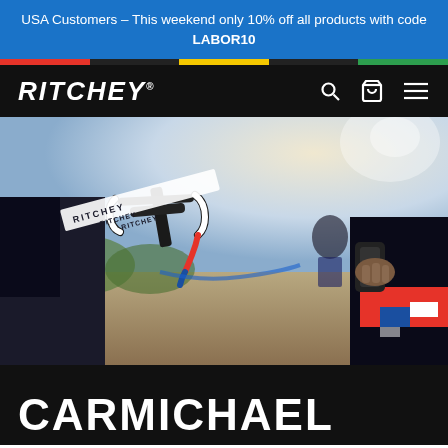USA Customers – This weekend only 10% off all products with code LABOR10
[Figure (screenshot): Ritchey brand navigation bar with logo on left and search, cart, menu icons on right, on black background]
[Figure (photo): Close-up photo of cyclists with Ritchey branded handlebars, stem, and handlebar tape with colorful checkered pattern, outdoor desert scene]
CARMICHAEL